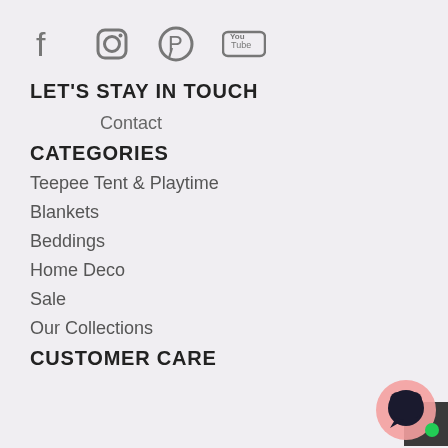[Figure (infographic): Social media icons: Facebook, Instagram, Pinterest, YouTube]
LET'S STAY IN TOUCH
Contact
CATEGORIES
Teepee Tent & Playtime
Blankets
Beddings
Home Deco
Sale
Our Collections
CUSTOMER CARE
[Figure (other): Chat support button with pink circle and dark speech bubble icon with green dot]